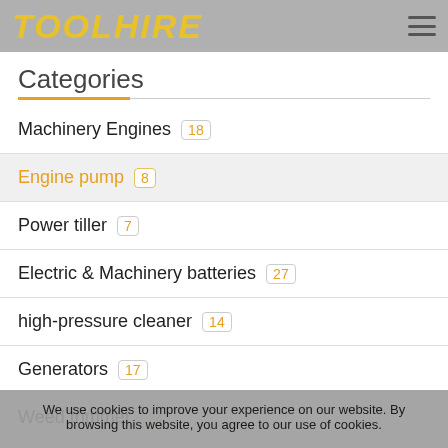TOOLHIRE
Categories
Machinery Engines 18
Engine pump 8
Power tiller 7
Electric & Machinery batteries 27
high-pressure cleaner 14
Generators 17
Weed trimmer 24
Hedge trimmer
We use cookies to improve your experience on our website. By browsing this website, you agree to our use of cookies.